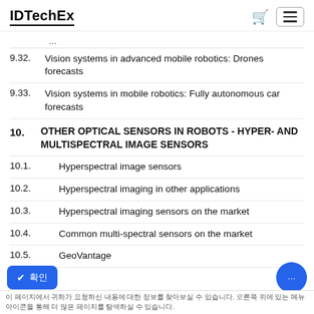IDTechEx
9.32. Vision systems in advanced mobile robotics: Drones forecasts
9.33. Vision systems in mobile robotics: Fully autonomous car forecasts
10. OTHER OPTICAL SENSORS IN ROBOTS - HYPER- AND MULTISPECTRAL IMAGE SENSORS
10.1. Hyperspectral image sensors
10.2. Hyperspectral imaging in other applications
10.3. Hyperspectral imaging sensors on the market
10.4. Common multi-spectral sensors on the market
10.5. GeoVantage
이 페이지에서 귀하가 요청하신 내용에 대한 정보를 찾아보실 수 있습니다. 오른쪽 위에 있는 메뉴 아이콘을 통해 더 많은 페이지를 탐색하실 수 있습니다.